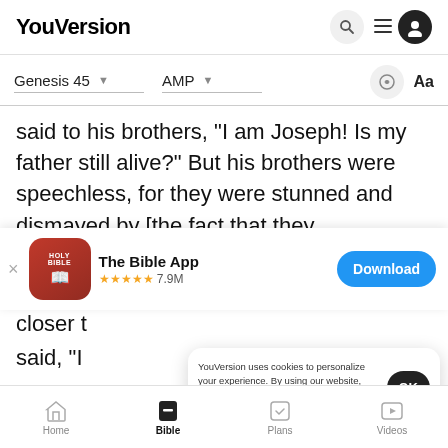YouVersion
Genesis 45  AMP
said to his brothers, "I am Joseph! Is my father still alive?" But his brothers were speechless, for they were stunned and dismayed by [the fact that they
[Figure (screenshot): App store banner for The Bible App with icon showing HOLY BIBLE book, 5 gold stars rating, 7.9M reviews, and a blue Download button]
closer t
said, "I
YouVersion uses cookies to personalize your experience. By using our website, you accept our use of cookies as described in our Privacy Policy.
Home  Bible  Plans  Videos